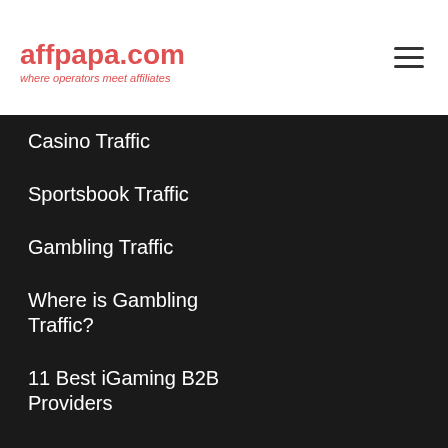affpapa.com — where operators meet affiliates
Casino Traffic
Sportsbook Traffic
Gambling Traffic
Where is Gambling Traffic?
11 Best iGaming B2B Providers
Casino Software Providers
iGaming Affiliate Programs
Casino Affiliate Programs